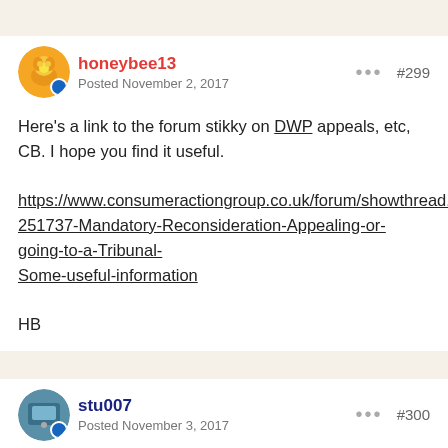honeybee13
Posted November 2, 2017
#299
Here's a link to the forum stikky on DWP appeals, etc, CB. I hope you find it useful.

https://www.consumeractiongroup.co.uk/forum/showthread.php?251737-Mandatory-Reconsideration-Appealing-or-going-to-a-Tribunal-Some-useful-information

HB
stu007
Posted November 3, 2017
#300